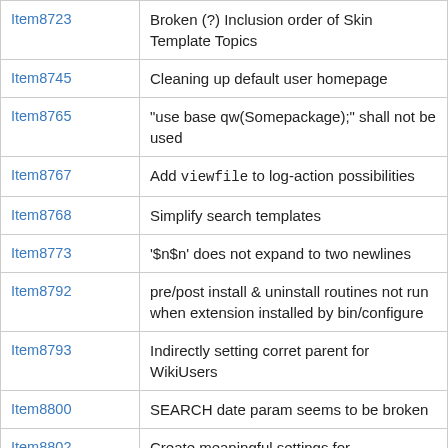| Item | Description |
| --- | --- |
| Item8723 | Broken (?) Inclusion order of Skin Template Topics |
| Item8745 | Cleaning up default user homepage |
| Item8765 | "use base qw(Somepackage);" shall not be used |
| Item8767 | Add viewfile to log-action possibilities |
| Item8768 | Simplify search templates |
| Item8773 | '$n$n' does not expand to two newlines |
| Item8792 | pre/post install & uninstall routines not run when extension installed by bin/configure |
| Item8793 | Indirectly setting corret parent for WikiUsers |
| Item8800 | SEARCH date param seems to be broken |
| Item8802 | Create meaningful settings for REGISTRATIONGROUPTYPE |
| Item8809 | SEARCH newline $n does not work |
| Item8811 | SEARCH search string translates .* to Index. Old cruft from Athens |